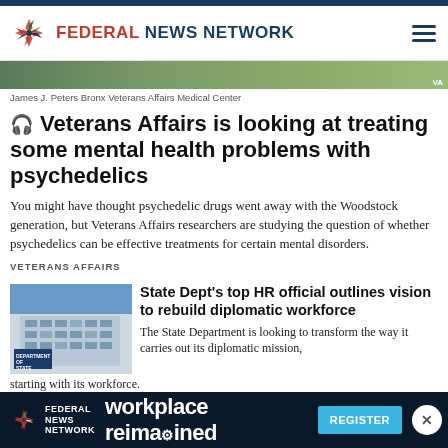FEDERAL NEWS NETWORK
[Figure (photo): James J. Peters Bronx Veterans Affairs Medical Center building exterior, cropped hero image]
James J. Peters Bronx Veterans Affairs Medical Center
Veterans Affairs is looking at treating some mental health problems with psychedelics
You might have thought psychedelic drugs went away with the Woodstock generation, but Veterans Affairs researchers are studying the question of whether psychedelics can be effective treatments for certain mental disorders.
VETERANS AFFAIRS
[Figure (photo): U.S. Department of State building exterior with sign]
State Dept's top HR official outlines vision to rebuild diplomatic workforce
The State Department is looking to transform the way it carries out its diplomatic mission, starting with its workforce.
HIRING
[Figure (infographic): Federal News Network advertisement banner: workplace reimagined — REGISTER button]